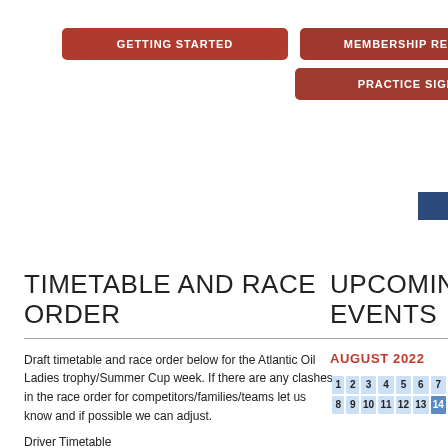GETTING STARTED
MEMBERSHIP RENEWAL
PRACTICE SIGN-ON
TIMETABLE AND RACE ORDER
Draft timetable and race order below for the Atlantic Oil Ladies trophy/Summer Cup week. If there are any clashes in the race order for competitors/families/teams let us know and if possible we can adjust.
Driver Timetable
UPCOMING EVENTS
AUGUST 2022
| 1 | 2 | 3 | 4 | 5 | 6 | 7 |
| 8 | 9 | 10 | 11 | 12 | 13 | 14 |